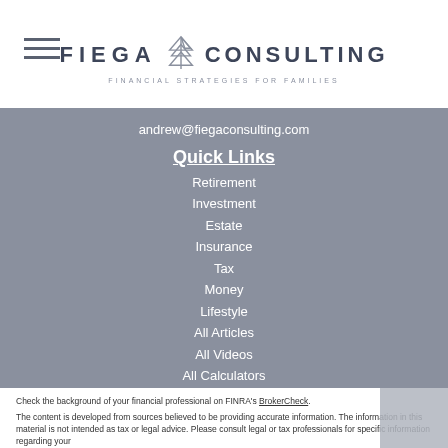[Figure (logo): Fiega Consulting logo with arrow/mountain icon. Text reads FIEGA CONSULTING, FINANCIAL STRATEGIES FOR FAMILIES]
andrew@fiegaconsulting.com
Quick Links
Retirement
Investment
Estate
Insurance
Tax
Money
Lifestyle
All Articles
All Videos
All Calculators
All Presentations
Check the background of your financial professional on FINRA's BrokerCheck.
The content is developed from sources believed to be providing accurate information. The information in this material is not intended as tax or legal advice. Please consult legal or tax professionals for specific information regarding your